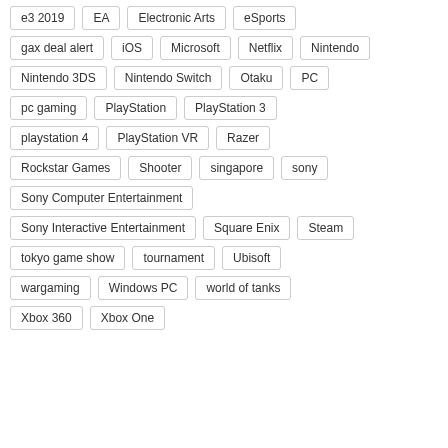e3 2019
EA
Electronic Arts
eSports
gax deal alert
iOS
Microsoft
Netflix
Nintendo
Nintendo 3DS
Nintendo Switch
Otaku
PC
pc gaming
PlayStation
PlayStation 3
playstation 4
PlayStation VR
Razer
Rockstar Games
Shooter
singapore
sony
Sony Computer Entertainment
Sony Interactive Entertainment
Square Enix
Steam
tokyo game show
tournament
Ubisoft
wargaming
Windows PC
world of tanks
Xbox 360
Xbox One